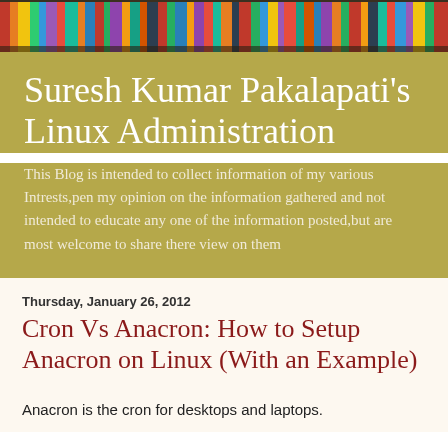[Figure (photo): Colorful book spines on a bookshelf, used as decorative page header image]
Suresh Kumar Pakalapati's Linux Administration
This Blog is intended to collect information of my various Intrests,pen my opinion on the information gathered and not intended to educate any one of the information posted,but are most welcome to share there view on them
Thursday, January 26, 2012
Cron Vs Anacron: How to Setup Anacron on Linux (With an Example)
Anacron is the cron for desktops and laptops.